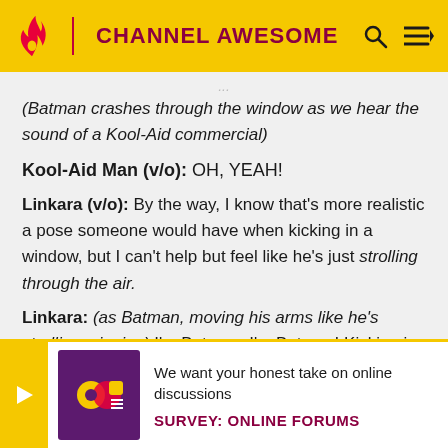CHANNEL AWESOME
(Batman crashes through the window as we hear the sound of a Kool-Aid commercial)
Kool-Aid Man (v/o): OH, YEAH!
Linkara (v/o): By the way, I know that's more realistic a pose someone would have when kicking in a window, but I can't help but feel like he's just strolling through the air.
Linkara: (as Batman, moving his arms like he's strolling; singing) I'm Batman, I'm Batman! Kicking in your windows!
Linkara: [partially visible] ...and B... Joker...
We want your honest take on online discussions
SURVEY: ONLINE FORUMS